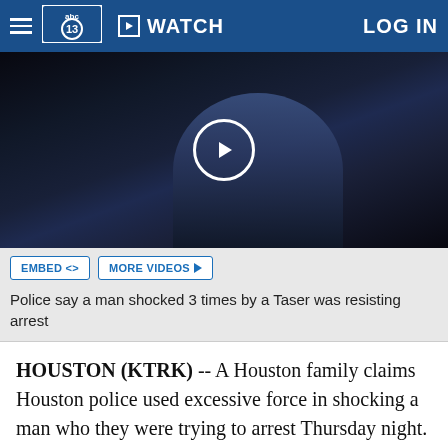abc13 WATCH LOG IN
[Figure (screenshot): Video thumbnail showing a dark nighttime scene with a person in a white shirt, with a circular play button overlay in the center]
Police say a man shocked 3 times by a Taser was resisting arrest
HOUSTON (KTRK) -- A Houston family claims Houston police used excessive force in shocking a man who they were trying to arrest Thursday night.
Ronald Parker, 39, was charged with resisting arrest. Police say he was stunned three times after making